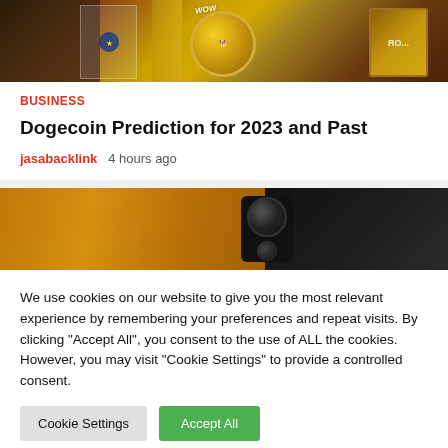[Figure (photo): Cryptocurrency coins including Dogecoin gold coin with dog face, EU flag card, and other crypto coins/items on dark background]
BUSINESS
Dogecoin Prediction for 2023 and Past
jasabacklink   4 hours ago
[Figure (photo): Close-up of smartphone back camera module with large and small lenses on gold/amber colored phone body]
We use cookies on our website to give you the most relevant experience by remembering your preferences and repeat visits. By clicking "Accept All", you consent to the use of ALL the cookies. However, you may visit "Cookie Settings" to provide a controlled consent.